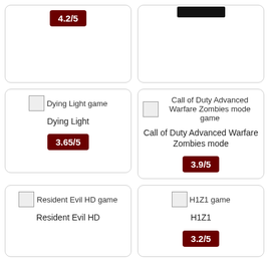[Figure (screenshot): Top-left card partially visible, showing rating badge 4.2/5]
[Figure (screenshot): Top-right card partially visible]
[Figure (screenshot): Dying Light game card with image placeholder, title, and rating 3.65/5]
[Figure (screenshot): Call of Duty Advanced Warfare Zombies mode game card with image placeholder, title, and rating 3.9/5]
[Figure (screenshot): Resident Evil HD game card with image placeholder and title]
[Figure (screenshot): H1Z1 game card with image placeholder, title H1Z1, and rating 3.2/5]